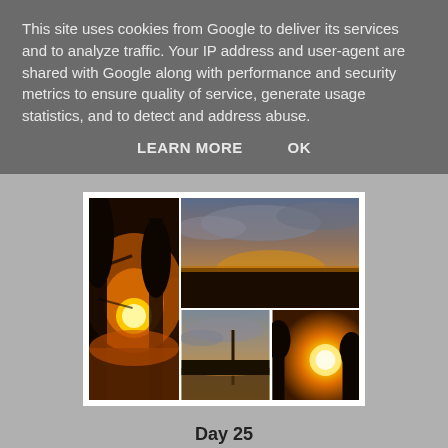This site uses cookies from Google to deliver its services and to analyze traffic. Your IP address and user-agent are shared with Google along with performance and security metrics to ensure quality of service, generate usage statistics, and to detect and address abuse.
LEARN MORE   OK
[Figure (photo): Collage of sunset photos showing a bright orange sun setting over trees and fields, split into three panels arranged in a grid.]
Day 25
Another day at work and I didn't want to do the usual walk at